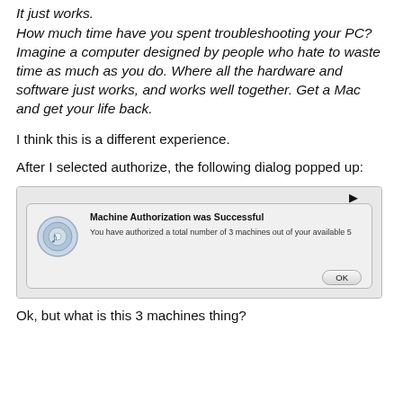It just works.
How much time have you spent troubleshooting your PC? Imagine a computer designed by people who hate to waste time as much as you do. Where all the hardware and software just works, and works well together. Get a Mac and get your life back.
I think this is a different experience.
After I selected authorize, the following dialog popped up:
[Figure (screenshot): Mac OS X iTunes dialog box saying 'Machine Authorization was Successful' with text 'You have authorized a total number of 3 machines out of your available 5' and an OK button]
Ok, but what is this 3 machines thing?